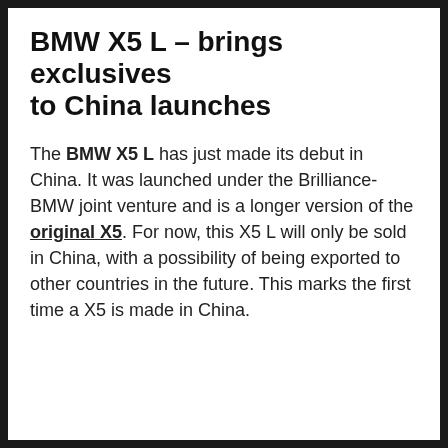BMW X5 L – brings exclusives to China launches
The BMW X5 L has just made its debut in China. It was launched under the Brilliance-BMW joint venture and is a longer version of the original X5. For now, this X5 L will only be sold in China, with a possibility of being exported to other countries in the future. This marks the first time a X5 is made in China.